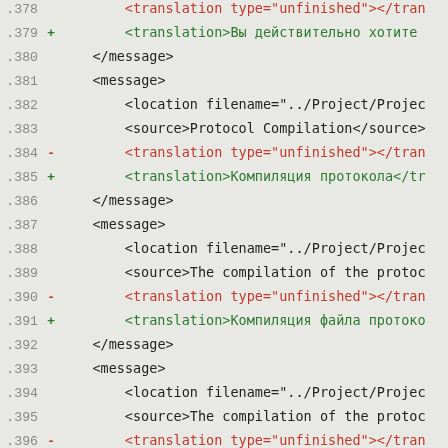Code diff view showing XML translation file lines 378-398
.378   <translation type="unfinished"></tran
.379 +     <translation>Вы действительно хотите
.380       </message>
.381       <message>
.382           <location filename="../Project/Projec
.383           <source>Protocol Compilation</source>
.384 -         <translation type="unfinished"></tran
.385 +         <translation>Компиляция протокола</tr
.386       </message>
.387       <message>
.388           <location filename="../Project/Projec
.389           <source>The compilation of the protoc
.390 -         <translation type="unfinished"></tran
.391 +         <translation>Компиляция файла протоко
.392       </message>
.393       <message>
.394           <location filename="../Project/Projec
.395           <source>The compilation of the protoc
.396 -         <translation type="unfinished"></tran
.397 +         <translation>Ошибка компиляции файла
.398       </message>